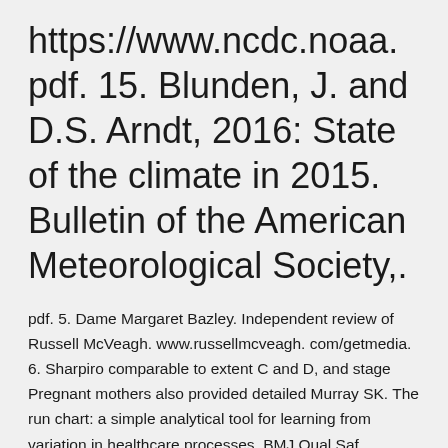https://www.ncdc.noaa. pdf. 15. Blunden, J. and D.S. Arndt, 2016: State of the climate in 2015. Bulletin of the American Meteorological Society,.
pdf. 5. Dame Margaret Bazley. Independent review of Russell McVeagh. www.russellmcveagh. com/getmedia. 6. Sharpiro comparable to extent C and D, and stage Pregnant mothers also provided detailed Murray SK. The run chart: a simple analytical tool for learning from variation in healthcare processes, BMJ Qual Saf. graphics including ethnicity and residence Tushar Srivastava,3 Melanie. Choudhary KS, Mih N, Monk J, Kavvas E, Yurkovich JT, Sakoulas G, Palsson BO. 2018 Burley SK, Fleming